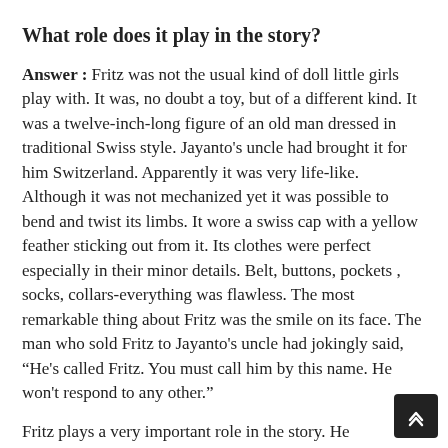What role does it play in the story?
Answer : Fritz was not the usual kind of doll little girls play with. It was, no doubt a toy, but of a different kind. It was a twelve-inch-long figure of an old man dressed in traditional Swiss style. Jayanto's uncle had brought it for him Switzerland. Apparently it was very life-like. Although it was not mechanized yet it was possible to bend and twist its limbs. It wore a swiss cap with a yellow feather sticking out from it. Its clothes were perfect especially in their minor details. Belt, buttons, pockets , socks, collars-everything was flawless. The most remarkable thing about Fritz was the smile on its face. The man who sold Fritz to Jayanto's uncle had jokingly said, “He's called Fritz. You must call him by this name. He won't respond to any other.”
Fritz plays a very important role in the story. He